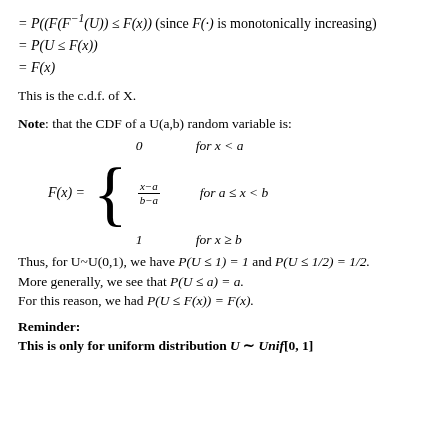This is the c.d.f. of X.
Note: that the CDF of a U(a,b) random variable is:
Thus, for U~U(0,1), we have P(U ≤ 1) = 1 and P(U ≤ 1/2) = 1/2. More generally, we see that P(U ≤ a) = a. For this reason, we had P(U ≤ F(x)) = F(x).
Reminder: This is only for uniform distribution U ~ Unif[0, 1]